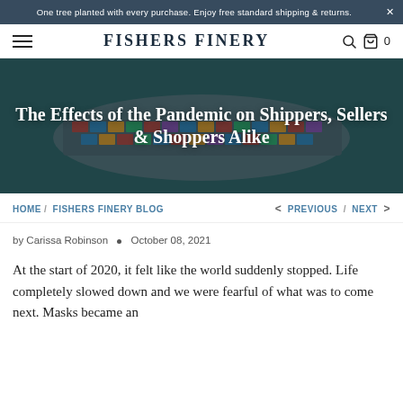One tree planted with every purchase. Enjoy free standard shipping & returns.
FISHERS FINERY
[Figure (photo): Aerial view of a large container ship on teal/green water, overlaid with white bold title text: The Effects of the Pandemic on Shippers, Sellers & Shoppers Alike]
The Effects of the Pandemic on Shippers, Sellers & Shoppers Alike
HOME / FISHERS FINERY BLOG    < PREVIOUS / NEXT >
by Carissa Robinson  •  October 08, 2021
At the start of 2020, it felt like the world suddenly stopped. Life completely slowed down and we were fearful of what was to come next. Masks became an